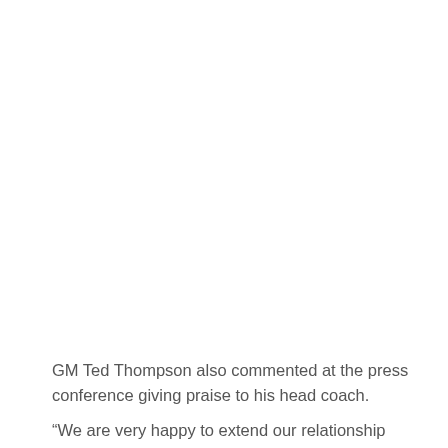GM Ted Thompson also commented at the press conference giving praise to his head coach.
“We are very happy to extend our relationship with Mike”